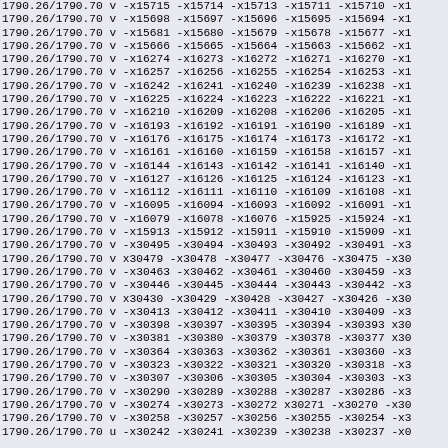1790.26/1790.70 v -x15715 -x15714 -x15713 -x15711 -x15710 -x1
1790.26/1790.70 v -x15698 -x15697 -x15696 -x15695 -x15694 -x1
1790.26/1790.70 v -x15681 -x15680 -x15679 -x15678 -x15677 -x1
1790.26/1790.70 v -x15666 -x15665 -x15664 -x15663 -x15662 -x1
1790.26/1790.70 v -x16274 -x16273 -x16272 -x16271 -x16270 -x1
1790.26/1790.70 v -x16257 -x16256 -x16255 -x16254 -x16253 -x1
1790.26/1790.70 v -x16242 -x16241 -x16240 -x16239 -x16238 -x1
1790.26/1790.70 v -x16225 -x16224 -x16223 -x16222 -x16221 -x1
1790.26/1790.70 v -x16210 -x16209 -x16208 -x16206 -x16205 -x1
1790.26/1790.70 v -x16193 -x16192 -x16191 -x16190 -x16189 -x1
1790.26/1790.70 v -x16176 -x16175 -x16174 -x16173 -x16172 -x1
1790.26/1790.70 v -x16161 -x16160 -x16159 -x16158 -x16157 -x1
1790.26/1790.70 v -x16144 -x16143 -x16142 -x16141 -x16140 -x1
1790.26/1790.70 v -x16127 -x16126 -x16125 -x16124 -x16123 -x1
1790.26/1790.70 v -x16112 -x16111 -x16110 -x16109 -x16108 -x1
1790.26/1790.70 v -x16095 -x16094 -x16093 -x16092 -x16091 -x1
1790.26/1790.70 v -x16079 -x16078 -x16076 -x15925 -x15924 -x1
1790.26/1790.70 v -x15913 -x15912 -x15911 -x15910 -x15909 -x1
1790.26/1790.70 v -x30495 -x30494 -x30493 -x30492 -x30491 -x3
1790.26/1790.70 v x30479 -x30478 -x30477 -x30476 -x30475 -x30
1790.26/1790.70 v -x30463 -x30462 -x30461 -x30460 -x30459 -x3
1790.26/1790.70 v -x30446 -x30445 -x30444 -x30443 -x30442 -x3
1790.26/1790.70 v x30430 -x30429 -x30428 -x30427 -x30426 -x30
1790.26/1790.70 v -x30413 -x30412 -x30411 -x30410 -x30409 -x3
1790.26/1790.70 v -x30398 -x30397 -x30395 -x30394 -x30393 x30
1790.26/1790.70 v -x30381 -x30380 -x30379 -x30378 -x30377 x30
1790.26/1790.70 v -x30364 -x30363 -x30362 -x30361 -x30360 -x3
1790.26/1790.70 v -x30323 -x30322 -x30321 -x30320 -x30318 -x3
1790.26/1790.70 v -x30307 -x30306 -x30305 -x30304 -x30303 -x3
1790.26/1790.70 v -x30290 -x30289 -x30288 -x30287 -x30286 -x3
1790.26/1790.70 v -x30274 -x30273 -x30272 x30271 -x30270 -x30
1790.26/1790.70 v -x30258 -x30257 -x30256 -x30255 -x30254 -x3
1790.26/1790.70 u -x30242 -x30241 -x30239 -x30238 -x30237 -x0